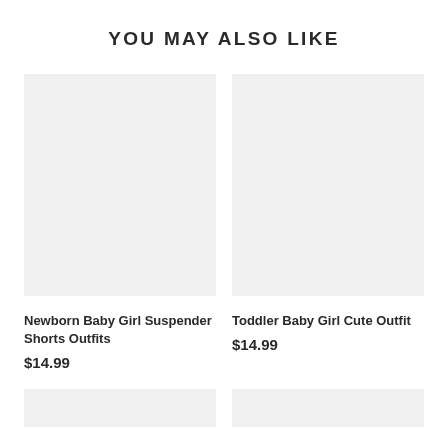YOU MAY ALSO LIKE
[Figure (photo): Gray placeholder image for Newborn Baby Girl Suspender Shorts Outfits]
[Figure (photo): Gray placeholder image for Toddler Baby Girl Cute Outfit]
Newborn Baby Girl Suspender Shorts Outfits
$14.99
Toddler Baby Girl Cute Outfit
$14.99
[Figure (photo): Gray placeholder image bottom left]
[Figure (photo): Gray placeholder image bottom right]